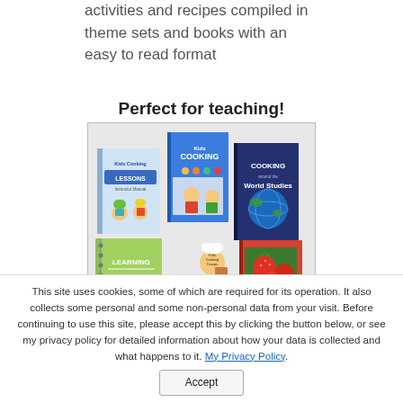activities and recipes compiled in theme sets and books with an easy to read format
Perfect for teaching!
[Figure (illustration): Collection of kids cooking themed books and educational materials including Kids Cooking Lessons Instructor Manual, Kids Cooking Courses, Cooking World Studies, Learning Food Facts spiral notebook, Kids Cooking Camps, and a recipe book with food photo cover.]
This site uses cookies, some of which are required for its operation. It also collects some personal and some non-personal data from your visit. Before continuing to use this site, please accept this by clicking the button below, or see my privacy policy for detailed information about how your data is collected and what happens to it. My Privacy Policy.
Accept